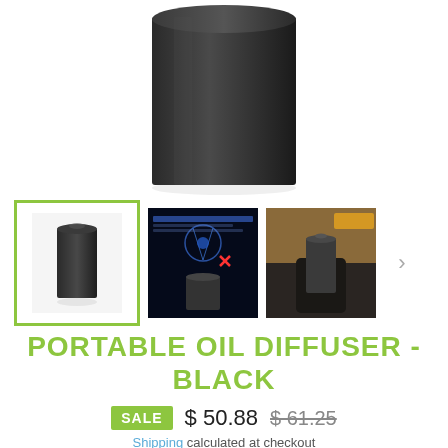[Figure (photo): Main product photo of a black cylindrical portable oil diffuser on white background, showing the top portion of the device]
[Figure (photo): Thumbnail 1 (selected, with green border): small black cylindrical oil diffuser on white background]
[Figure (photo): Thumbnail 2: dark blue promotional image with text 'Two-Fold Atomization Technology' and a graphic of DNA strand and diffuser]
[Figure (photo): Thumbnail 3: the black cylindrical diffuser placed in a car cup holder, lifestyle photo]
PORTABLE OIL DIFFUSER - BLACK
SALE $ 50.88 $ 61.25
Shipping calculated at checkout